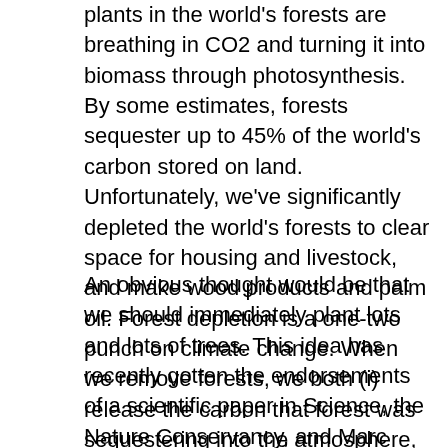plants in the world's forests are breathing in CO2 and turning it into biomass through photosynthesis. By some estimates, forests sequester up to 45% of the world's carbon stored on land. Unfortunately, we've significantly depleted the world's forests to clear space for housing and livestock, and make wood products and palm oil. Forest depletion is a one-two punch on climate change. When we remove forests, we both (i) release the carbon that forest was sequestering into the atmosphere, and (ii) lose that forest as a source of further sequestration.
An obvious thought would be that we should immediately plant lots and lots of trees. This idea has recently gotten the endorsements of a scientific paper in Science, the Nature Conservancy, and Marc Benioff (to name a few). But there are 3 challenges with naive tree planting as a strategy to combat climate change.